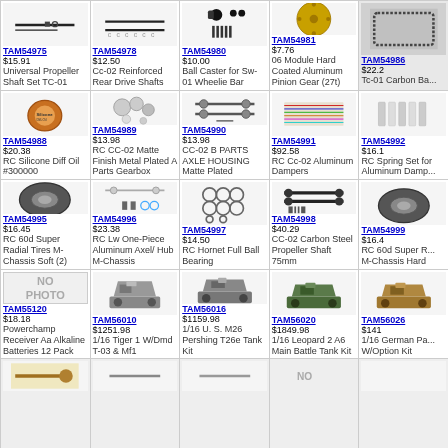| Product Image | Product ID/Price | Product Name |
| --- | --- | --- |
| TAM54975 | $15.91 | Universal Propeller Shaft Set TC-01 |
| TAM54978 | $12.50 | Cc-02 Reinforced Rear Drive Shafts |
| TAM54980 | $10.00 | Ball Caster for Sw-01 Wheelie Bar |
| TAM54981 | $7.76 | 06 Module Hard Coated Aluminum Pinion Gear (27t) |
| TAM54986 | $22.2x | Tc-01 Carbon Ba... |
| TAM54988 | $20.38 | RC Silicone Diff Oil #300000 |
| TAM54989 | $13.98 | RC CC-02 Matte Finish Metal Plated A Parts Gearbox |
| TAM54990 | $13.98 | CC-02 B PARTS AXLE HOUSING Matte Plated |
| TAM54991 | $92.58 | RC Cc-02 Aluminum Dampers |
| TAM54992 | $16.1x | RC Spring Set for Aluminum Damp... |
| TAM54995 | $16.45 | RC 60d Super Radial Tires M-Chassis Soft (2) |
| TAM54996 | $23.38 | RC Lw One-Piece Aluminum Axel/ Hub M-Chassis |
| TAM54997 | $14.50 | RC Hornet Full Ball Bearing |
| TAM54998 | $40.29 | CC-02 Carbon Steel Propeller Shaft 75mm |
| TAM54999 | $16.4x | RC 60d Super R... M-Chassis Hard |
| TAM55120 | $18.18 | Powerchamp Receiver Aa Alkaline Batteries 12 Pack |
| TAM56010 | $1251.98 | 1/16 Tiger 1 W/Dmd T-03 & Mf1 |
| TAM56016 | $1159.98 | 1/16 U. S. M26 Pershing T26e Tank Kit |
| TAM56020 | $1849.98 | 1/16 Leopard 2 A6 Main Battle Tank Kit |
| TAM56026 | $141x | 1/16 German Pa... W/Option Kit |